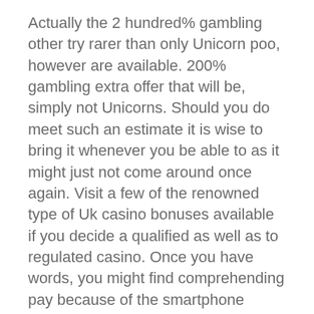Actually the 2 hundred% gambling other try rarer than only Unicorn poo, however are available. 200% gambling extra offer that will be, simply not Unicorns. Should you do meet such an estimate it is wise to bring it whenever you be able to as it might just not come around once again. Visit a few of the renowned type of Uk casino bonuses available if you decide a qualified as well as to regulated casino. Once you have words, you might find comprehending pay because of the smartphone gambling agencies.
Any time you play on Bingo games Neighborhood you'll relish the selection of bedroom offered, far from No-cost bingo so to 1p bingo it is simple to fully guaranteed